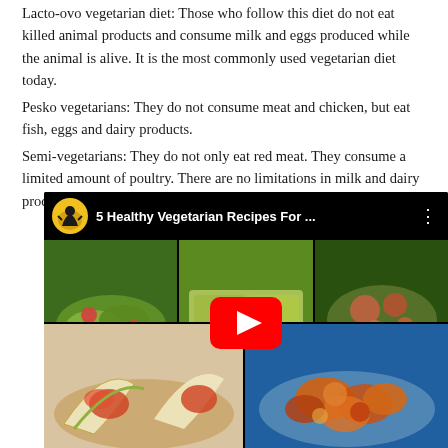Lacto-ovo vegetarian diet: Those who follow this diet do not eat killed animal products and consume milk and eggs produced while the animal is alive. It is the most commonly used vegetarian diet today.
Pesko vegetarians: They do not consume meat and chicken, but eat fish, eggs and dairy products.
Semi-vegetarians: They do not only eat red meat. They consume a limited amount of poultry. There are no limitations in milk and dairy products and egg consumption.
[Figure (screenshot): YouTube video thumbnail showing '5 Healthy Vegetarian Recipes For ...' with a channel icon (silhouette person against yellow moon), grid of 5 vegetarian food photos (green salad, pasta, chickpea salad, veggie wraps, sweet potato stew), and a red YouTube play button in the center.]